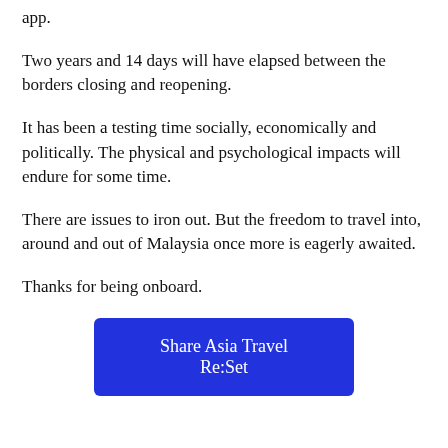app.
Two years and 14 days will have elapsed between the borders closing and reopening.
It has been a testing time socially, economically and politically. The physical and psychological impacts will endure for some time.
There are issues to iron out. But the freedom to travel into, around and out of Malaysia once more is eagerly awaited.
Thanks for being onboard.
[Figure (other): Blue button labeled 'Share Asia Travel Re:Set']